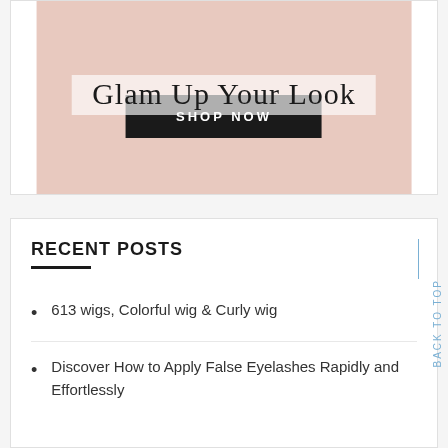[Figure (illustration): Pink promotional banner with script text 'Glam Up Your Look' and a black 'SHOP NOW' button]
RECENT POSTS
613 wigs, Colorful wig & Curly wig
Discover How to Apply False Eyelashes Rapidly and Effortlessly